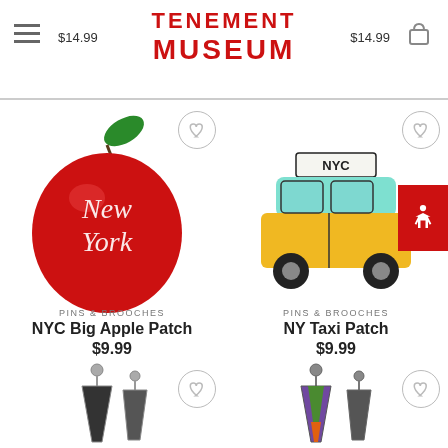TENEMENT MUSEUM — $14.99 $14.99
[Figure (photo): NYC Big Apple embroidered patch — red apple with 'New York' text]
[Figure (photo): NY Taxi embroidered patch — yellow taxi cab with 'NYC' sign on roof]
PINS & BROOCHES
NYC Big Apple Patch
$9.99
PINS & BROOCHES
NY Taxi Patch
$9.99
[Figure (photo): Silver dangling earrings with black accents]
[Figure (photo): Multi-color dangling earrings with geometric triangle design]